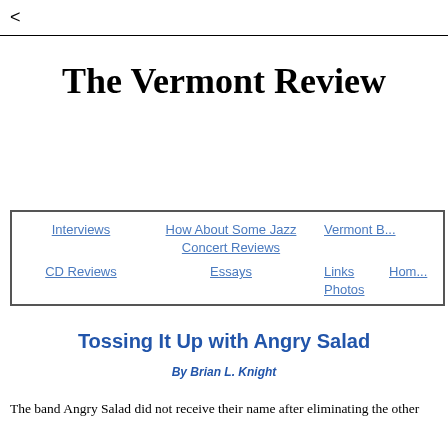<
The Vermont Review
| Interviews | How About Some Jazz Concert Reviews | Vermont B... |
| CD Reviews | Essays | Links Photos | Home... |
Tossing It Up with Angry Salad
By Brian L. Knight
The band Angry Salad did not receive their name after eliminating the other